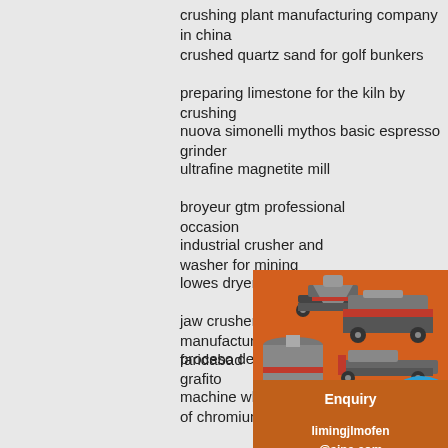crushing plant manufacturing company in china
crushed quartz sand for golf bunkers
preparing limestone for the kiln by crushing
nuova simonelli mythos basic espresso grinder
ultrafine magnetite mill
broyeur gtm professional occasion
industrial crusher and washer for mining
lowes dryer lint cleaner
jaw crusher manufacturers in faridabad
proceso de flotacion de grafito
machine what is the ore of chromium
machine mobile crushers for sale in uae
mining and processing gold malaysia equipment
coal crusher manufacture indonesia
limestone mining in malaysia
grinding vertical concrete surfaces
round bar rolling machine hot rolling mill
[Figure (illustration): Advertisement banner with orange background showing mining/crushing machinery images, 'Enjoy 3%' text, 'Click to...' text with yellow font, blue circle graphic, Enquiry button, and email limingjlmofen@sina.com]